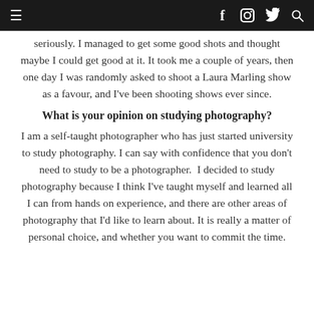≡  f  [instagram]  [twitter]  [search]
seriously. I managed to get some good shots and thought maybe I could get good at it. It took me a couple of years, then one day I was randomly asked to shoot a Laura Marling show as a favour, and I've been shooting shows ever since.
What is your opinion on studying photography?
I am a self-taught photographer who has just started university to study photography. I can say with confidence that you don't need to study to be a photographer.  I decided to study photography because I think I've taught myself and learned all I can from hands on experience, and there are other areas of photography that I'd like to learn about. It is really a matter of personal choice, and whether you want to commit the time.